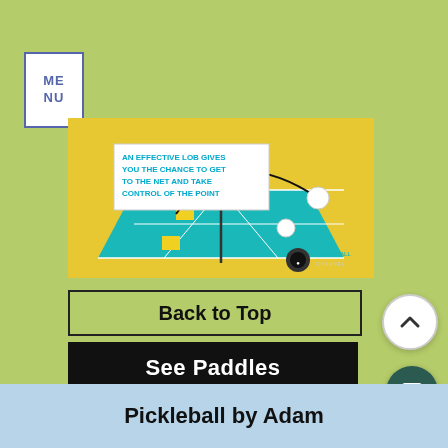MENU
[Figure (illustration): Pickleball court diagram showing a lob shot trajectory over the net with text: AN EFFECTIVE LOB GIVES YOU THE CHANCE TO GET TO THE NET AND TAKE CONTROL OF THE POINT. Pickleball Channel branding visible.]
Back to Top
See Paddles
Pickleball by Adam